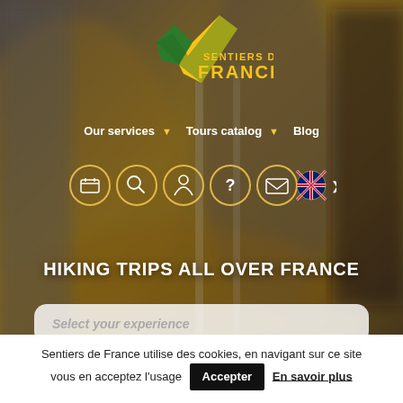[Figure (screenshot): Blurred outdoor hiking background photo with autumn foliage and hiking poles]
[Figure (logo): Sentiers de France logo — yellow checkmark with green background and yellow text 'SENTIERS DE FRANCE']
Our services ▾  Tours catalog ▾  Blog
[Figure (infographic): Navigation icon bar with calendar, search, user, help/question mark, envelope icons in circular gold borders, and UK flag with chevron]
HIKING TRIPS ALL OVER FRANCE
Select your experience
Sentiers de France utilise des cookies, en navigant sur ce site vous en acceptez l'usage  Accepter  En savoir plus